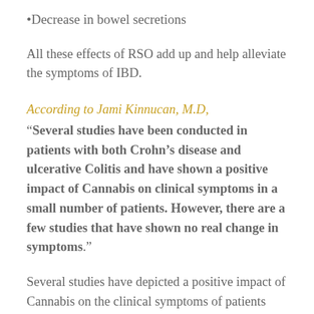Decrease in bowel secretions
All these effects of RSO add up and help alleviate the symptoms of IBD.
According to Jami Kinnucan, M.D,
“Several studies have been conducted in patients with both Crohn’s disease and ulcerative Colitis and have shown a positive impact of Cannabis on clinical symptoms in a small number of patients. However, there are a few studies that have shown no real change in symptoms.”
Several studies have depicted a positive impact of Cannabis on the clinical symptoms of patients suffering from IBD. These include a reduction in abdominal